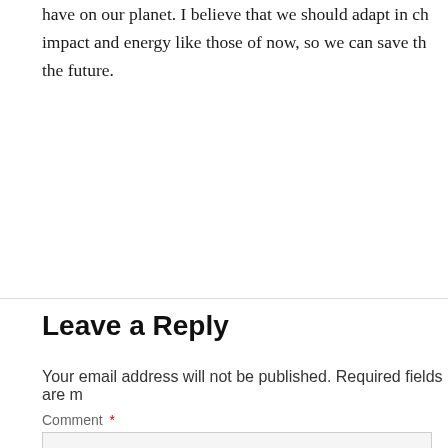have on our planet. I believe that we should adapt in changing our impact and energy like those of now, so we can save the future.
Leave a Reply
Your email address will not be published. Required fields are m
Comment *